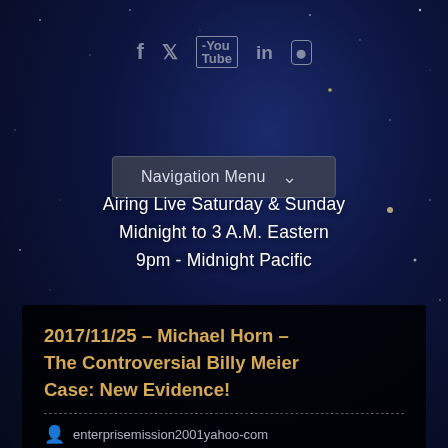[Figure (screenshot): Dark space/night sky background with blue and dark tones]
Social media icons: Facebook, Twitter, YouTube, LinkedIn, Instagram
Navigation Menu ▾
Airing Live Saturday & Sunday
Midnight to 3 A.M. Eastern
9pm - Midnight Pacific
2017/11/25 – Michael Horn – The Controversial Billy Meier Case: New Evidence!
enterprisemission2001yahoo-com
Comments Off
Tagged in John Francis, Michael